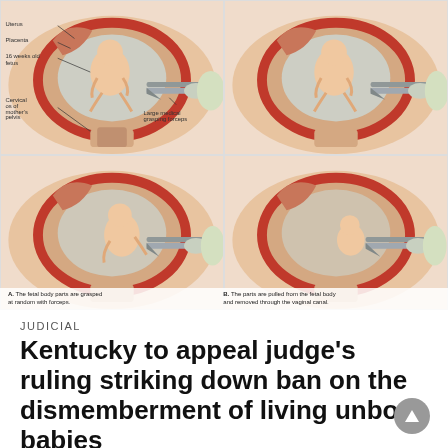[Figure (illustration): 2x2 grid of medical diagrams showing stages of a surgical procedure on a fetus in utero. Top-left (A): labeled diagram showing uterus, placenta, 16-week-old fetus, cervix/os of mother's pelvis, and large medical grasping forceps. Top-right: same procedure view without labels, forceps grasping fetus. Bottom-left: procedure continuing, less of fetus visible. Bottom-right: fetus further removed. Captions: A. The fetal body parts are grasped at random with forceps. B. The parts are pulled from the fetal body and removed through the vaginal canal.]
JUDICIAL
Kentucky to appeal judge's ruling striking down ban on the dismemberment of living unborn babies
By Dave Andrusko No sooner had U.S. District Judge Joseph